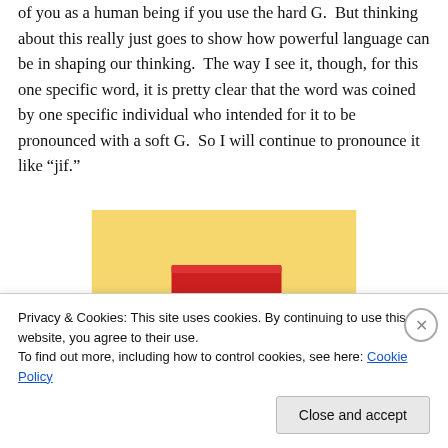of you as a human being if you use the hard G.  But thinking about this really just goes to show how powerful language can be in shaping our thinking.  The way I see it, though, for this one specific word, it is pretty clear that the word was coined by one specific individual who intended for it to be pronounced with a soft G.  So I will continue to pronounce it like “jif.”
[Figure (illustration): Stacked books or blocks illustration with colorful layers — red top, brown/tan middle, blue and green at bottom — on a yellow background]
Privacy & Cookies: This site uses cookies. By continuing to use this website, you agree to their use.
To find out more, including how to control cookies, see here: Cookie Policy